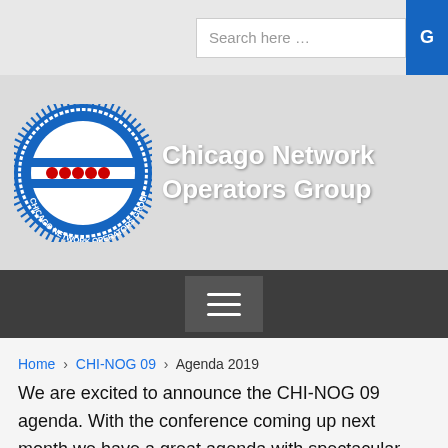[Figure (screenshot): Website screenshot of Chicago Network Operators Group (CHI-NOG) webpage showing logo, navigation, and article content about CHI-NOG 09 Agenda 2019]
Search here …
[Figure (logo): CHI-NOG circular logo with blue stripes and red stars, text 'CHICAGO NETWORK OPERATORS GROUP' around border]
Chicago Network Operators Group
Home › CHI-NOG 09 › Agenda 2019
We are excited to announce the CHI-NOG 09 agenda. With the conference coming up next month we have a great agenda with spectacular speakers coming from all over the world to Chicago bringing our community together. This year's program focuses mainly on network automation, but also has very unique topics AI with network operations, SDN architectures, public cloud performance, network monitoring, open networking, latest trends in IoT…